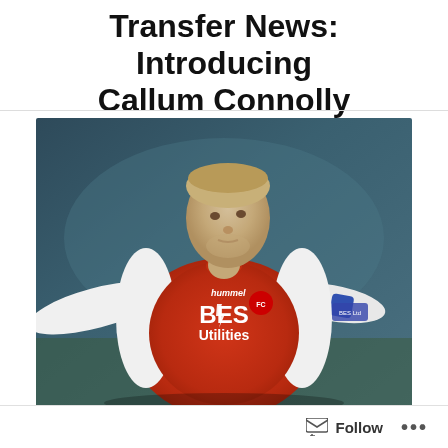Transfer News: Introducing Callum Connolly
[Figure (photo): Callum Connolly in a red and white Fleetwood Town football kit with BES Utilities sponsor, arm outstretched, against a blurred outdoor background]
Last week, Blackpool welcomed sixth summer signing Callum Connolly to Bloomfield Road on a two-year deal with a one-year extension. One that has gone under the